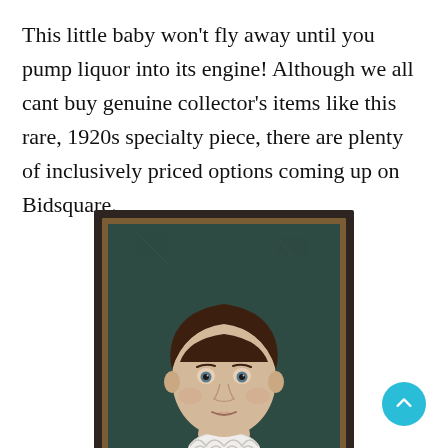This little baby won't fly away until you pump liquor into its engine! Although we all cant buy genuine collector's items like this rare, 1920s specialty piece, there are plenty of inclusively priced options coming up on Bidsquare.
[Figure (photo): A framed portrait painting of a young boy with dark bowl-cut hair, wearing a black outfit with a white ruffled collar, painted in a folk art style against a dark teal/green background. The painting is in a dark brown wooden frame with a gold inner border.]